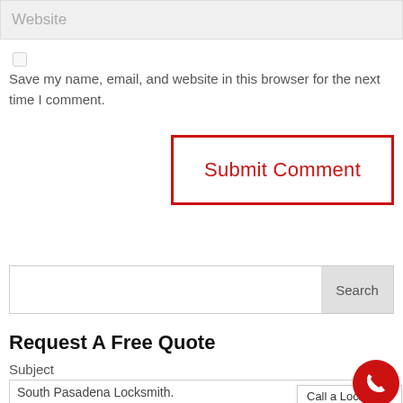Website
Save my name, email, and website in this browser for the next time I comment.
Submit Comment
Search
Request A Free Quote
Subject
South Pasadena Locksmith.
Call a Locksmith
* Your Name